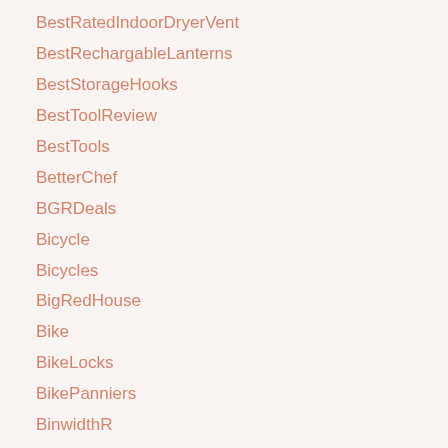BestRatedIndoorDryerVent
BestRechargableLanterns
BestStorageHooks
BestToolReview
BestTools
BetterChef
BGRDeals
Bicycle
Bicycles
BigRedHouse
Bike
BikeLocks
BikePanniers
BinwidthR
BinWitweAbWannMussIchSteuernZahlen